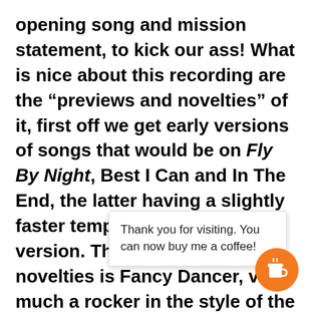opening song and mission statement, to kick our ass! What is nice about this recording are the “previews and novelties” of it, first off we get early versions of songs that would be on Fly By Night, Best I Can and In The End, the latter having a slightly faster tempo than the studio version. The first of the novelties is Fancy Dancer, very much a rocker in the style of the first record but does contain a snippet of By-T[...] even argue t[...] of the songs t[...] Th[...] Mood is played by itself, somewhat of a
Thank you for visiting. You can now buy me a coffee!